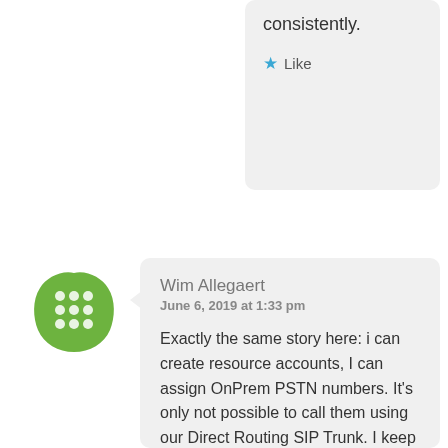consistently.
Like
Wim Allegaert
June 6, 2019 at 1:33 pm
Exactly the same story here: i can create resource accounts, I can assign OnPrem PSTN numbers. It’s only not possible to call them using our Direct Routing SIP Trunk. I keep getting a 404 Error. I have a ticket open now for 3 weeks now.
The problem is visible like this: in the Teams Admin Center when editing...